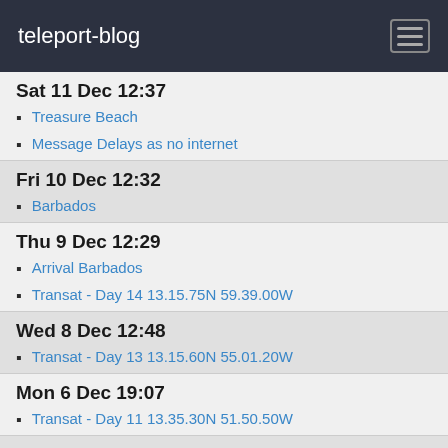teleport-blog
Sat 11 Dec 12:37
Treasure Beach
Message Delays as no internet
Fri 10 Dec 12:32
Barbados
Thu 9 Dec 12:29
Arrival Barbados
Transat - Day 14 13.15.75N 59.39.00W
Wed 8 Dec 12:48
Transat - Day 13 13.15.60N 55.01.20W
Mon 6 Dec 19:07
Transat - Day 11 13.35.30N 51.50.50W
Sun 5 Dec 21:46
Transat - Day 11 14.22.40N 48.38.80W
Transat - Day 10 13.59.00N 45.50.80W
Fri 3 Dec 18:16